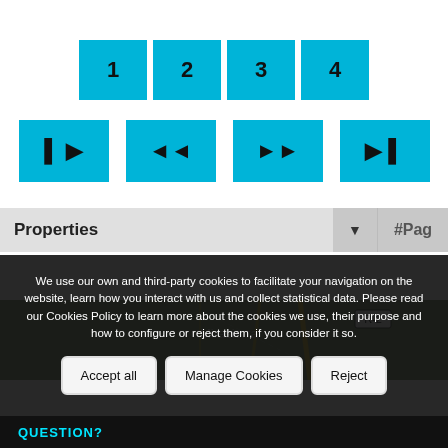[Figure (screenshot): Pagination buttons showing numbers 1, 2, 3, 4 in cyan/blue color]
[Figure (screenshot): Navigation media control buttons: skip-back, rewind, fast-forward, skip-forward in cyan/blue color]
[Figure (screenshot): Properties dropdown bar with #Pag label]
[Figure (map): Map view showing Mirasierra area with road R-2]
We use our own and third-party cookies to facilitate your navigation on the website, learn how you interact with us and collect statistical data. Please read our Cookies Policy to learn more about the cookies we use, their purpose and how to configure or reject them, if you consider it so.
Accept all   Manage Cookies   Reject
QUESTION?